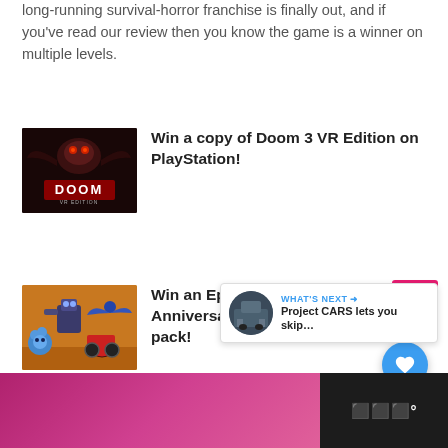long-running survival-horror franchise is finally out, and if you've read our review then you know the game is a winner on multiple levels.
Win a copy of Doom 3 VR Edition on PlayStation!
Win an Epic Blizzard 30th Anniversary celebration collection pack!
And the winner of our Lego Star Wars set
FEATURES
[Figure (screenshot): Website page footer/advertisement strip with pink/magenta background and dark sidebar]